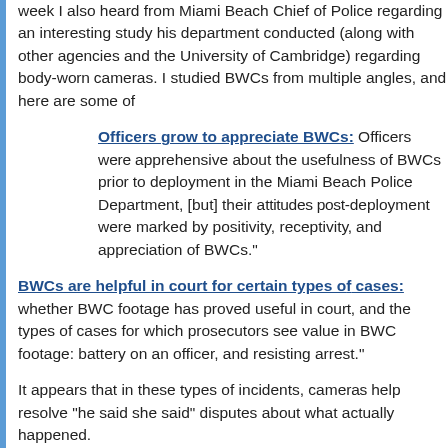week I also heard from Miami Beach Chief of Police regarding an interesting study his department conducted (along with other agencies and the University of Cambridge) regarding body-worn cameras. I studied BWCs from multiple angles, and here are some of
Officers grow to appreciate BWCs: Officers were apprehensive about the usefulness of BWCs prior to deployment in the Miami Beach Police Department, [but] their attitudes post-deployment were marked by positivity, receptivity, and appreciation of BWCs.
BWCs are helpful in court for certain types of cases: whether BWC footage has proved useful in court, and the types of cases for which prosecutors see value in BWC footage: battery on an officer, and resisting arrest.
It appears that in these types of incidents, cameras help resolve "she said" disputes about what actually happened.
In fact, the study found that "having BWC footage increased conviction in domestic violence cases by 83% and reduced dismissals by 23%," and "in cases of battery of officer, conviction rates and dismissals are reduced by 89%."
Here's an unexpected finding: For six months